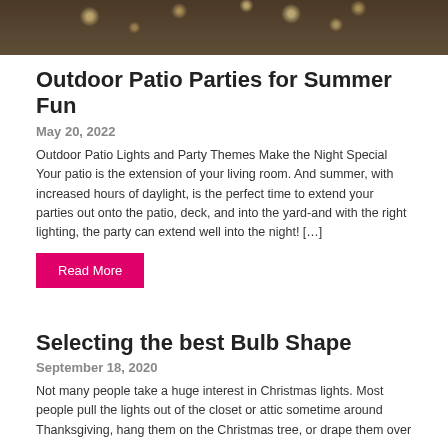[Figure (photo): Dark photo of an outdoor party or event with string lights and people gathered around tables]
Outdoor Patio Parties for Summer Fun
May 20, 2022
Outdoor Patio Lights and Party Themes Make the Night Special Your patio is the extension of your living room. And summer, with increased hours of daylight, is the perfect time to extend your parties out onto the patio, deck, and into the yard-and with the right lighting, the party can extend well into the night! […]
Read More
Selecting the best Bulb Shape
September 18, 2020
Not many people take a huge interest in Christmas lights. Most people pull the lights out of the closet or attic sometime around Thanksgiving, hang them on the Christmas tree, or drape them over